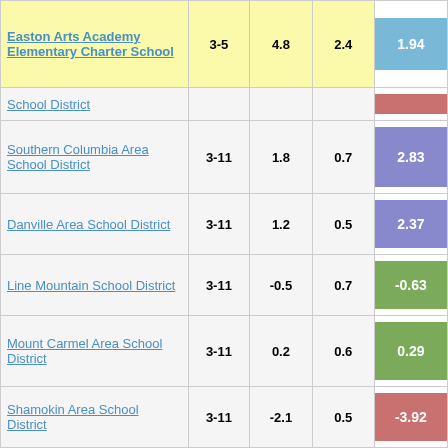| School/District | Grades | Col3 | Col4 | Score |
| --- | --- | --- | --- | --- |
| Easton Arts Academy Elementary Charter School | 3-5 | 4.8 | 2.4 | 1.94 |
| School District |  |  |  |  |
| Southern Columbia Area School District | 3-11 | 1.8 | 0.7 | 2.83 |
| Danville Area School District | 3-11 | 1.2 | 0.5 | 2.37 |
| Line Mountain School District | 3-11 | -0.5 | 0.7 | -0.63 |
| Mount Carmel Area School District | 3-11 | 0.2 | 0.6 | 0.29 |
| Shamokin Area School District | 3-11 | -2.1 | 0.5 | -3.92 |
| Warrior Run School District | 3-11 | -0.7 | 0.6 | -1.13 |